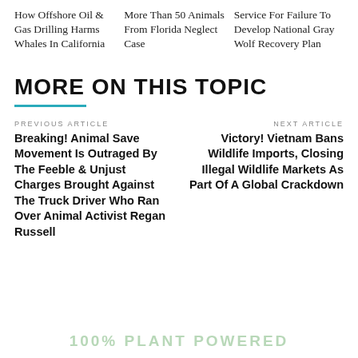How Offshore Oil & Gas Drilling Harms Whales In California
More Than 50 Animals From Florida Neglect Case
Service For Failure To Develop National Gray Wolf Recovery Plan
MORE ON THIS TOPIC
PREVIOUS ARTICLE
Breaking! Animal Save Movement Is Outraged By The Feeble & Unjust Charges Brought Against The Truck Driver Who Ran Over Animal Activist Regan Russell
NEXT ARTICLE
Victory! Vietnam Bans Wildlife Imports, Closing Illegal Wildlife Markets As Part Of A Global Crackdown
100% PLANT POWERED